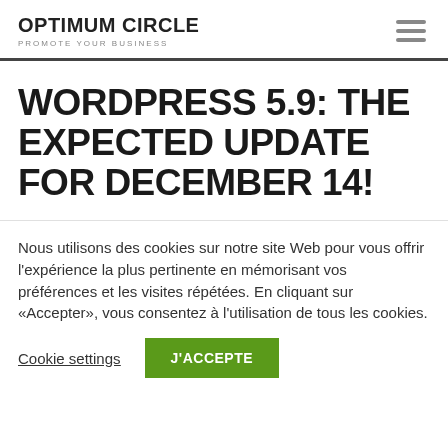OPTIMUM CIRCLE — PROMOTE YOUR BUSINESS
WORDPRESS 5.9: THE EXPECTED UPDATE FOR DECEMBER 14!
Nous utilisons des cookies sur notre site Web pour vous offrir l'expérience la plus pertinente en mémorisant vos préférences et les visites répétées. En cliquant sur «Accepter», vous consentez à l'utilisation de tous les cookies.
Cookie settings  J'ACCEPTE